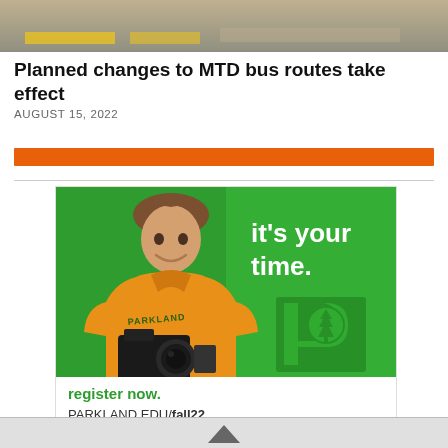[Figure (photo): Top banner image showing a road or parking lot surface with yellow markings]
Planned changes to MTD bus routes take effect
AUGUST 15, 2022
[Figure (illustration): Orange horizontal bar separator]
[Figure (photo): Advertisement for Parkland College showing a student in a yellow Parkland hoodie holding a camera on a green background, with text 'it’s your time.' and Parkland logo. Bottom reads 'register now. PARKLAND.EDU/fall22']